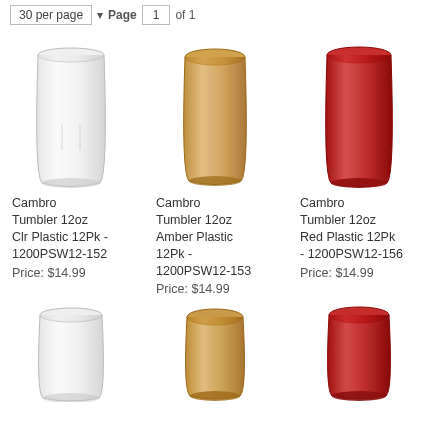30 per page  Page 1 of 1
[Figure (photo): Clear plastic tumbler 12oz]
[Figure (photo): Amber plastic tumbler 12oz]
[Figure (photo): Red plastic tumbler 12oz]
Cambro Tumbler 12oz Clr Plastic 12Pk - 1200PSW12-152
Price: $14.99
Cambro Tumbler 12oz Amber Plastic 12Pk - 1200PSW12-153
Price: $14.99
Cambro Tumbler 12oz Red Plastic 12Pk - 1200PSW12-156
Price: $14.99
[Figure (photo): Clear plastic tumbler 12oz (row 2)]
[Figure (photo): Amber plastic tumbler 12oz (row 2)]
[Figure (photo): Red plastic tumbler 12oz (row 2)]